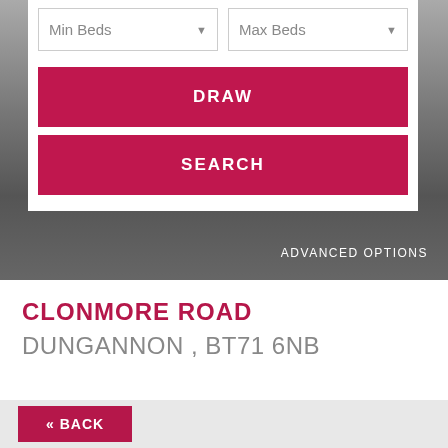[Figure (screenshot): Search form panel with Min Beds and Max Beds dropdowns, DRAW button and SEARCH button in crimson/red, overlaid on a road/street photo background with ADVANCED OPTIONS text at bottom right]
CLONMORE ROAD
DUNGANNON , BT71 6NB
« BACK